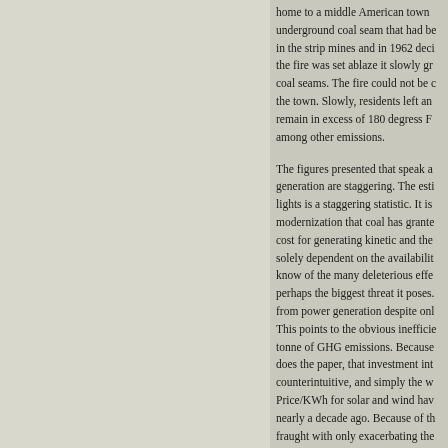home to a middle American town underground coal seam that had been in the strip mines and in 1962 deci the fire was set ablaze it slowly gr coal seams. The fire could not be c the town. Slowly, residents left an remain in excess of 180 degress F among other emissions.
The figures presented that speak a generation are staggering. The esti lights is a staggering statistic. It is modernization that coal has grante cost for generating kinetic and the solely dependent on the availabilit know of the many deleterious effe perhaps the biggest threat it poses. from power generation despite onl This points to the obvious ineffici tonne of GHG emissions. Because does the paper, that investment int counterintuitive, and simply the w Price/KWh for solar and wind hav nearly a decade ago. Because of th fraught with only exacerbating the